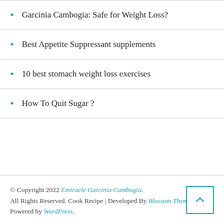Garcinia Cambogia: Safe for Weight Loss?
Best Appetite Suppressant supplements
10 best stomach weight loss exercises
How To Quit Sugar ?
© Copyright 2022 Emiracle Garcinia Cambogia. All Rights Reserved. Cook Recipe | Developed By Blossom Themes. Powered by WordPress.